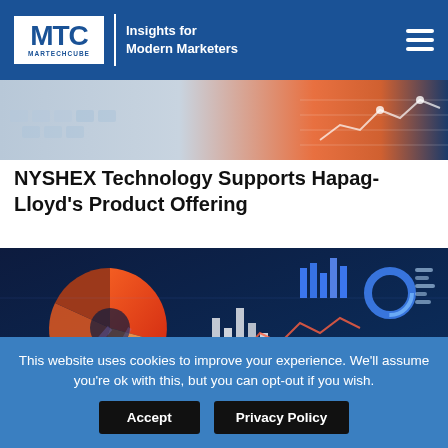MTC MARTECHCUBE | Insights for Modern Marketers
[Figure (photo): Close-up of a laptop keyboard with digital chart overlays and financial data graphics in blue and orange tones]
NYSHEX Technology Supports Hapag-Lloyd's Product Offering
[Figure (photo): Digital dashboard with various data visualizations including pie charts, bar charts, and line graphs in blue, orange and white on dark background]
This website uses cookies to improve your experience. We'll assume you're ok with this, but you can opt-out if you wish.
Accept | Privacy Policy